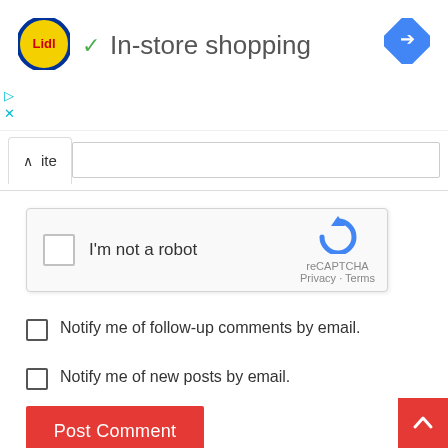[Figure (logo): Lidl logo - yellow circle with blue border and red 'Lidl' text, with checkmark and 'In-store shopping' text, plus blue navigation diamond icon in top right]
[Figure (screenshot): Website input field row with caret-up tab on left and text input box on right]
[Figure (screenshot): reCAPTCHA widget with checkbox, 'I'm not a robot' label, reCAPTCHA logo, Privacy and Terms links]
Notify me of follow-up comments by email.
Notify me of new posts by email.
Post Comment
[Figure (other): Red scroll-to-top button with white upward caret arrow in bottom right corner]